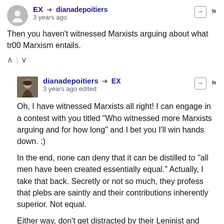EX → dianadepoitiers · 3 years ago
Then you haven't witnessed Marxists arguing about what tr00 Marxism entails.
dianadepoitiers → EX · 3 years ago edited
Oh, I have witnessed Marxists all right! I can engage in a contest with you titled "Who witnessed more Marxists arguing and for how long" and I bet you I'll win hands down. :)
In the end, none can deny that it can be distilled to "all men have been created essentially equal." Actually, I take that back. Secretly or not so much, they profess that plebs are saintly and their contributions inherently superior. Not equal.
Either way, don't get distracted by their Leninist and Stalinist launderings.